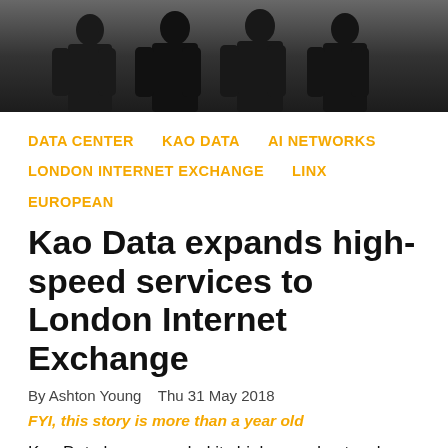[Figure (photo): Group photo of several people in dark suits standing together]
DATA CENTER   KAO DATA   AI NETWORKS   LONDON INTERNET EXCHANGE   LINX   EUROPEAN
Kao Data expands high-speed services to London Internet Exchange
By Ashton Young   Thu 31 May 2018
FYI, this story is more than a year old
Kao Data has expanded its high-speed network capabilities with its connection to the London